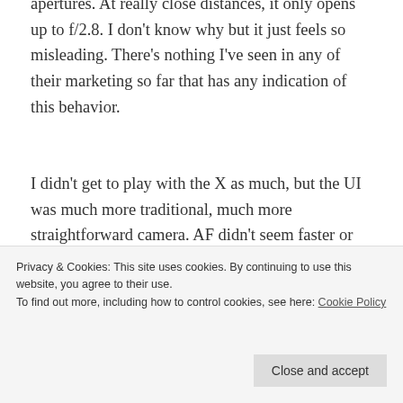apertures. At really close distances, it only opens up to f/2.8. I don't know why but it just feels so misleading. There's nothing I've seen in any of their marketing so far that has any indication of this behavior.
I didn't get to play with the X as much, but the UI was much more traditional, much more straightforward camera. AF didn't seem faster or slower than the T. Not terrible, but far from impressive.
After some time with both, strangely enough, I liked the X better. the T is interesting but needs some refinement.
worth anywhere close to the 2x price premium over, say,
Privacy & Cookies: This site uses cookies. By continuing to use this website, you agree to their use.
To find out more, including how to control cookies, see here: Cookie Policy
Close and accept